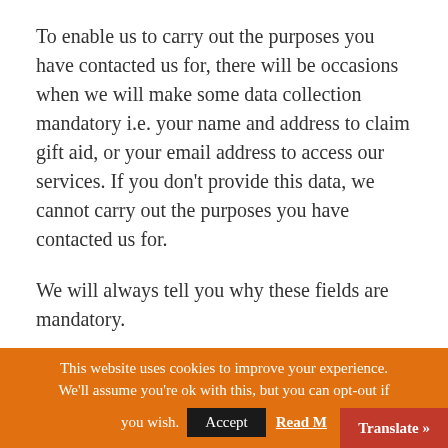To enable us to carry out the purposes you have contacted us for, there will be occasions when we will make some data collection mandatory i.e. your name and address to claim gift aid, or your email address to access our services. If you don't provide this data, we cannot carry out the purposes you have contacted us for.
We will always tell you why these fields are mandatory.
This website uses cookies to improve your experience. We'll assume you're ok with this, but you can opt-out if you wish. Accept Read M... Translate »